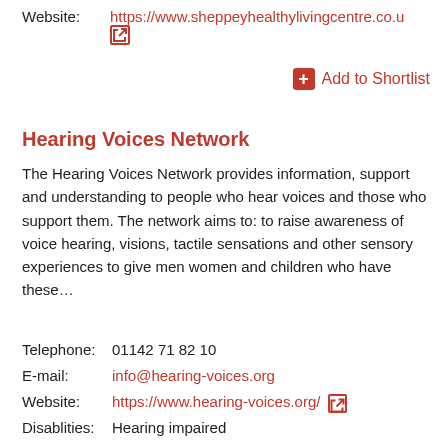Website:    https://www.sheppeyhealthylivingcentre.co.u [external link icon]
Add to Shortlist
Hearing Voices Network
The Hearing Voices Network provides information, support and understanding to people who hear voices and those who support them. The network aims to: to raise awareness of voice hearing, visions, tactile sensations and other sensory experiences to give men women and children who have these…
Telephone:  01142 71 82 10
E-mail:     info@hearing-voices.org
Website:    https://www.hearing-voices.org/ [external link icon]
Disablities: Hearing impaired